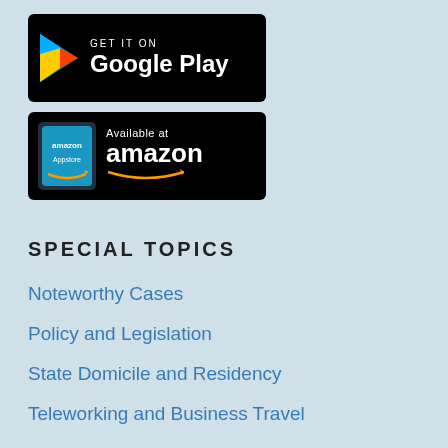[Figure (logo): Google Play store badge with play button triangle icon, white text 'GET IT ON' and 'Google Play' on black background]
[Figure (logo): Amazon Appstore badge with Amazon Appstore icon on left, white text 'Available at' and 'amazon' with orange smile arrow on black background]
SPECIAL TOPICS
Noteworthy Cases
Policy and Legislation
State Domicile and Residency
Teleworking and Business Travel
STATE TAX TYPES
Digital Economy